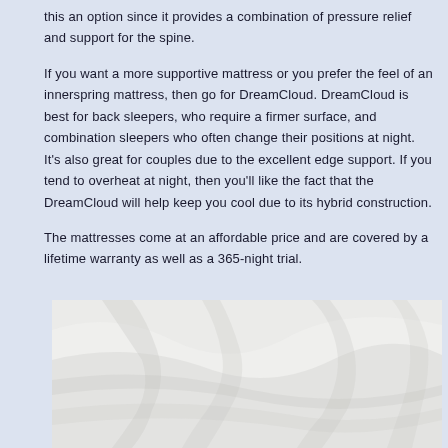this an option since it provides a combination of pressure relief and support for the spine.
If you want a more supportive mattress or you prefer the feel of an innerspring mattress, then go for DreamCloud. DreamCloud is best for back sleepers, who require a firmer surface, and combination sleepers who often change their positions at night. It's also great for couples due to the excellent edge support. If you tend to overheat at night, then you'll like the fact that the DreamCloud will help keep you cool due to its hybrid construction.
The mattresses come at an affordable price and are covered by a lifetime warranty as well as a 365-night trial.
[Figure (photo): Photo of white crumpled fabric or bed sheets, showing texture and folds.]